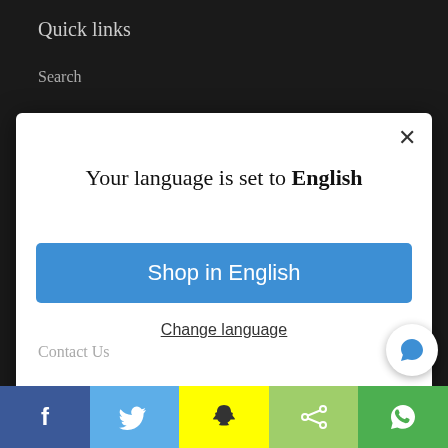Quick links
Search
[Figure (screenshot): Modal dialog: 'Your language is set to English' with 'Shop in English' blue button and 'Change language' underlined link, and an X close button]
Contact Us
Blog
[Figure (infographic): Social media share bar at bottom: Facebook (dark blue, f icon), Twitter (light blue, bird icon), Snapchat (yellow, ghost icon), Share (green, share icon), WhatsApp (green, phone icon). Chat bubble button bottom right.]